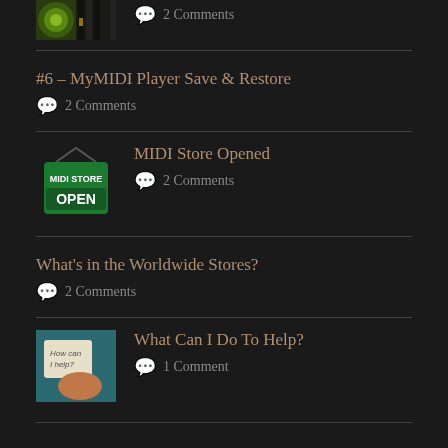[Figure (photo): Partial thumbnail of a green/yellow music-themed image at top of page]
2 Comments
#6 – MyMIDI Player Save & Restore
2 Comments
[Figure (photo): MIDI Store Open sign thumbnail - green sign with white text reading MIDI STORE OPEN]
MIDI Store Opened
2 Comments
What's in the Worldwide Stores?
2 Comments
[Figure (photo): Hand holding a card that reads How can I help?]
What Can I Do To Help?
1 Comment